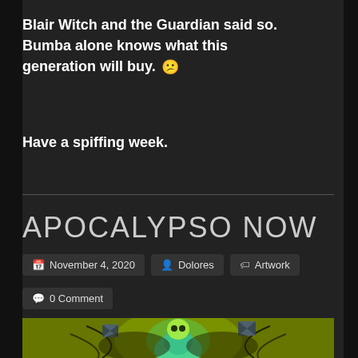Blair Witch and the Guardian said so. Bumba alone knows what this generation will buy. 😕
Have a spiffing week.
APOCALYPSO NOW
November 4, 2020  Dolores  Artwork
0 Comment
[Figure (illustration): Digital artwork with green and yellow psychedelic background featuring a stylized insect-like creature with glowing teal and green colors, surrounded by swirling black lines and hourglass symbols]